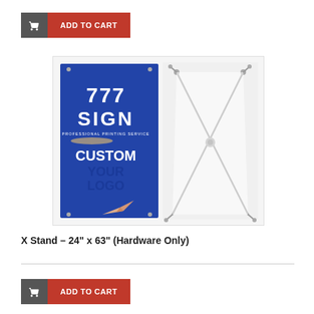ADD TO CART
[Figure (photo): Product photo showing an X Stand banner display. Left side shows a banner with blue background featuring '777 SIGN PROFESSIONAL PRINTING SERVICE', 'CUSTOM YOUR LOGO' text and a paper airplane graphic. Right side shows the X-shaped metal stand hardware alone with no banner.]
X Stand – 24" x 63" (Hardware Only)
ADD TO CART